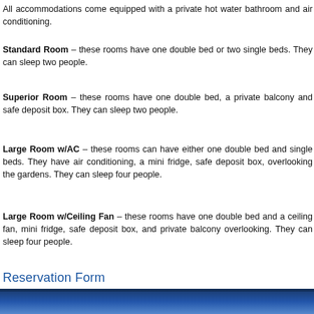All accommodations come equipped with a private hot water bathroom and air conditioning.
Standard Room – these rooms have one double bed or two single beds. They can sleep two people.
Superior Room – these rooms have one double bed, a private balcony and safe deposit box. They can sleep two people.
Large Room w/AC – these rooms can have either one double bed and single beds. They have air conditioning, a mini fridge, safe deposit box, overlooking the gardens. They can sleep four people.
Large Room w/Ceiling Fan – these rooms have one double bed and a ceiling fan, mini fridge, safe deposit box, and private balcony overlooking. They can sleep four people.
Reservation Form
[Figure (photo): Bottom strip showing a blue-toned hotel or garden scene image]